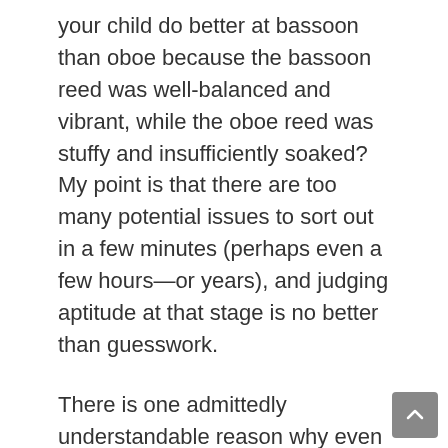your child do better at bassoon than oboe because the bassoon reed was well-balanced and vibrant, while the oboe reed was stuffy and insufficiently soaked? My point is that there are too many potential issues to sort out in a few minutes (perhaps even a few hours—or years), and judging aptitude at that stage is no better than guesswork.
There is one admittedly understandable reason why even band directors who know better might still carry out the charade of the instrument aptitude test, and that is ensemble balance. The band director needs to balance the success of individual students with the success of the group,